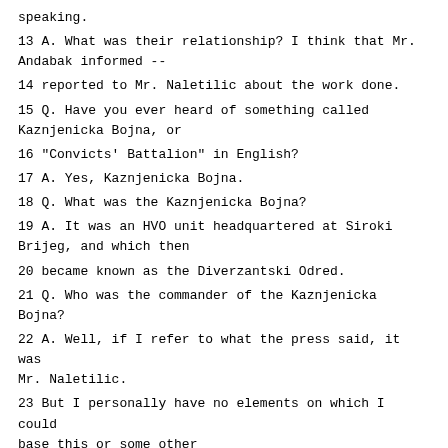speaking.
13 A. What was their relationship? I think that Mr. Andabak informed --
14 reported to Mr. Naletilic about the work done.
15 Q. Have you ever heard of something called Kaznjenicka Bojna, or
16 "Convicts' Battalion" in English?
17 A. Yes, Kaznjenicka Bojna.
18 Q. What was the Kaznjenicka Bojna?
19 A. It was an HVO unit headquartered at Siroki Brijeg, and which then
20 became known as the Diverzantski Odred.
21 Q. Who was the commander of the Kaznjenicka Bojna?
22 A. Well, if I refer to what the press said, it was Mr. Naletilic.
23 But I personally have no elements on which I could base this or some other
24 conclusion.
25 Q. Now, Witness B,